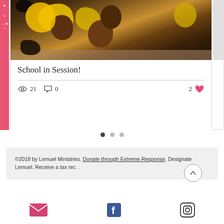[Figure (photo): Children in yellow uniforms photographed from above, smiling at the camera]
School in Session!
Views: 21, Comments: 0, Likes: 2
©2018 by Lemuel Ministries. Donate through Extreme Response. Designate Lemuel. Receive a tax rec…
[Figure (logo): Email icon (envelope, pink/magenta)]
[Figure (logo): Facebook icon]
[Figure (logo): Instagram icon]